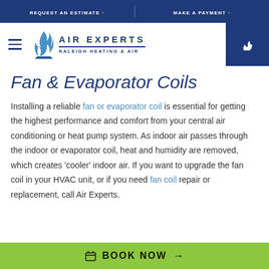REQUEST AN ESTIMATE  |  MAKE A PAYMENT
[Figure (logo): Air Experts Raleigh Heating & Air logo with flame icon, hamburger menu, and phone icon]
Fan & Evaporator Coils
Installing a reliable fan or evaporator coil is essential for getting the highest performance and comfort from your central air conditioning or heat pump system. As indoor air passes through the indoor or evaporator coil, heat and humidity are removed, which creates 'cooler' indoor air. If you want to upgrade the fan coil in your HVAC unit, or if you need fan coil repair or replacement, call Air Experts.
BOOK NOW →